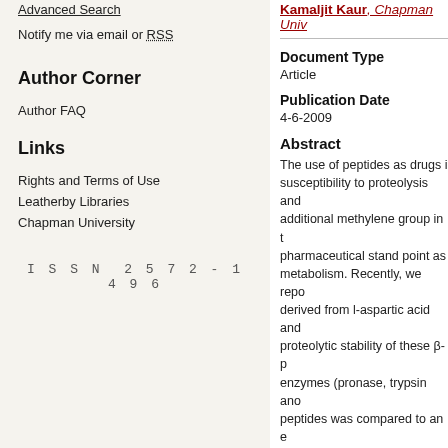Advanced Search
Notify me via email or RSS
Author Corner
Author FAQ
Links
Rights and Terms of Use
Leatherby Libraries
Chapman University
ISSN 2572-1496
Kamaljit Kaur, Chapman Univ
Document Type
Article
Publication Date
4-6-2009
Abstract
The use of peptides as drugs is susceptibility to proteolysis and additional methylene group in t pharmaceutical stand point as metabolism. Recently, we repo derived from l-aspartic acid an proteolytic stability of these β-p enzymes (pronase, trypsin ano peptides was compared to an a all conditions. The mixed α/β-p trypsin and pronase but not ela was slower than that would be were not toxic to HeLa and CC These results expand the scop β-peptide fragments as therape